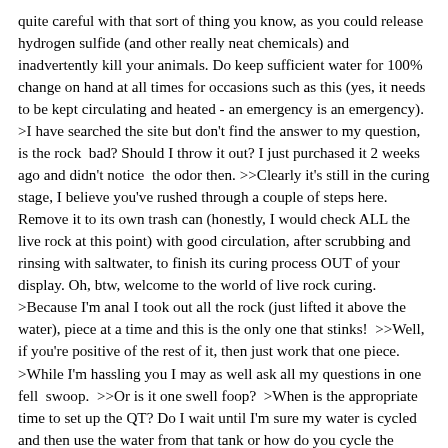quite careful with that sort of thing you know, as you could release hydrogen sulfide (and other really neat chemicals) and inadvertently kill your animals. Do keep sufficient water for 100% change on hand at all times for occasions such as this (yes, it needs to be kept circulating and heated - an emergency is an emergency).  >I have searched the site but don't find the answer to my question, is the rock  bad? Should I throw it out? I just purchased it 2 weeks ago and didn't notice  the odor then. >>Clearly it's still in the curing stage, I believe you've rushed through a couple of steps here. Remove it to its own trash can (honestly, I would check ALL the live rock at this point) with good circulation, after scrubbing and rinsing with saltwater, to finish its curing process OUT of your display. Oh, btw, welcome to the world of live rock curing.  >Because I'm anal I took out all the rock (just lifted it above the water), piece at a time and this is the only one that stinks!  >>Well, if you're positive of the rest of it, then just work that one piece.  >While I'm hassling you I may as well ask all my questions in one fell  swoop.  >>Or is it one swell foop?  >When is the appropriate time to set up the QT? Do I wait until I'm sure my water is cycled and then use the water from that tank or how do you cycle the water in a QT?  >>You cycle in the display and the q/t the same way: fishless. That means you use a bit of food (lots of folks like the raw shrimp bit, works FAST) dropped in, allowed to rot, testing for ammonia, nitrite spikes. When the nitrate begins to come up you know that you're culturing both species of nitrifying bacteria necessary for biological filtration. Next thing about live rock is that it takes a long